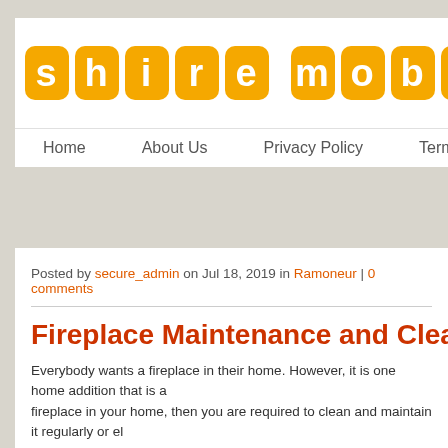[Figure (logo): Shire Mobile Hair logo with orange bubble letters on white background]
Home | About Us | Privacy Policy | Terms and Conditions
Posted by secure_admin on Jul 18, 2019 in Ramoneur | 0 comments
Fireplace Maintenance and Cleaning Tip
Everybody wants a fireplace in their home. However, it is one home addition that is a fireplace in your home, then you are required to clean and maintain it regularly or el
[Figure (photo): Photograph of a burning fireplace with bright orange and yellow flames]